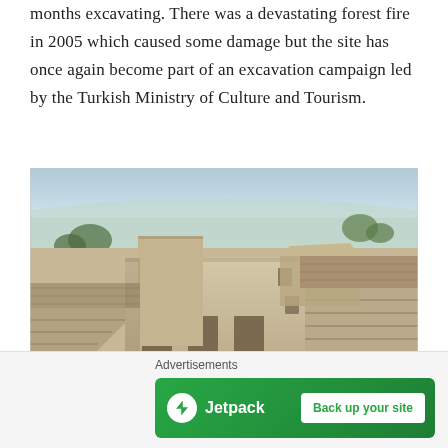months excavating. There was a devastating forest fire in 2005 which caused some damage but the site has once again become part of an excavation campaign led by the Turkish Ministry of Culture and Tourism.
[Figure (photo): Aerial view of ancient stone ruins of a Roman-era theater with tiered seating carved into hillside, set against a hazy valley landscape with mountains in the background.]
Advertisements
[Figure (other): Jetpack advertisement banner with green background showing Jetpack logo and 'Back up your site' button.]